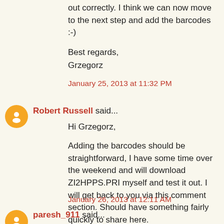out correctly. I think we can now move to the next step and add the barcodes :-)
Best regards,
Grzegorz
January 25, 2013 at 11:32 PM
Robert Russell said...
Hi Grzegorz,
Adding the barcodes should be straightforward, I have some time over the weekend and will download ZI2HPPS.PRI myself and test it out. I will get back to you via this comment section. Should have something fairly quickly to share here.
Regards
Robert
January 26, 2013 at 12:11 AM
paresh_911 said...
Hi Robert,